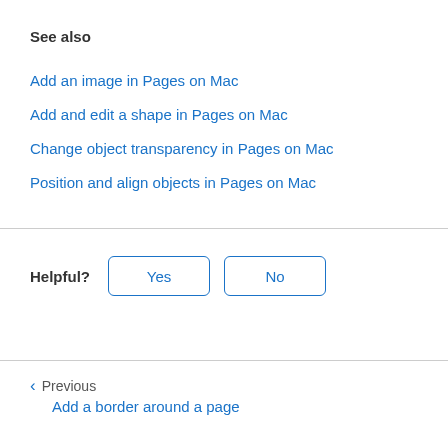See also
Add an image in Pages on Mac
Add and edit a shape in Pages on Mac
Change object transparency in Pages on Mac
Position and align objects in Pages on Mac
Helpful? Yes No
Previous
Add a border around a page